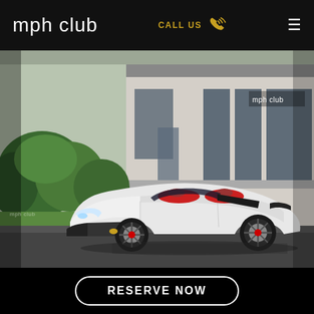mph club
CALL US
[Figure (photo): White Lamborghini Huracan Spyder convertible with red interior parked in front of mph club building. Green bushes on left, building facade with large glass windows on right, 'mph club' signage visible on building.]
mph club
RESERVE NOW